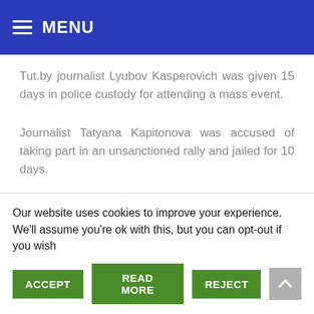MENU
Tut.by journalist Lyubov Kasperovich was given 15 days in police custody for attending a mass event.
Journalist Tatyana Kapitonova was accused of taking part in an unsanctioned rally and jailed for 10 days.
Over 100 people, including five journalists, were
Our website uses cookies to improve your experience. We'll assume you're ok with this, but you can opt-out if you wish